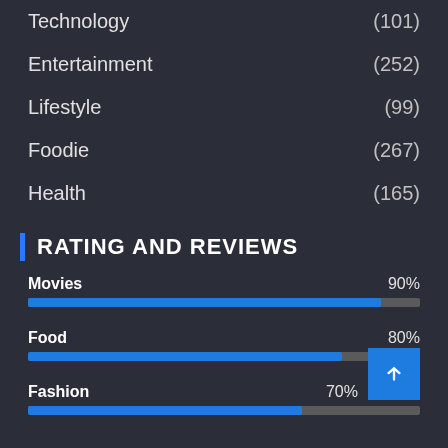Technology (101)
Entertainment (252)
Lifestyle (99)
Foodie (267)
Health (165)
RATING AND REVIEWS
[Figure (bar-chart): Rating and Reviews]